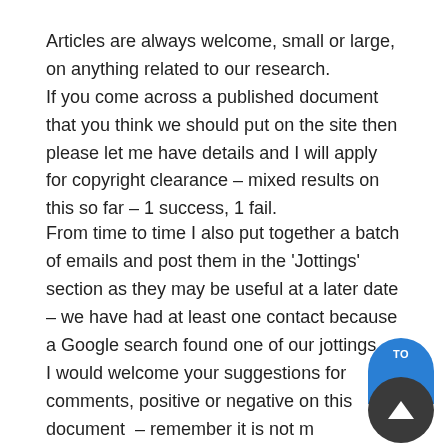Articles are always welcome, small or large, on anything related to our research. If you come across a published document that you think we should put on the site then please let me have details and I will apply for copyright clearance – mixed results on this so far – 1 success, 1 fail.
From time to time I also put together a batch of emails and post them in the 'Jottings' section as they may be useful at a later date – we have had at least one contact because a Google search found one of our jottings.
I would welcome your suggestions for comments, positive or negative on this document – remember it is not my website it is our website.